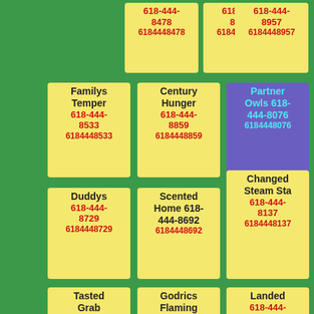618-444-8478 6184448478
618-444-8178 6184448178
618-444-8957 6184448957
Familys Temper 618-444-8533 6184448533
Century Hunger 618-444-8859 6184448859
Partner Owls 618-444-8076 6184448076
Duddys 618-444-8729 6184448729
Scented Home 618-444-8692 6184448692
Changed Steam Sta 618-444-8137 6184448137
Tasted Grab Whispered 618-444-8596
Godrics Flaming Give 618-444-8819
Landed 618-444-8405